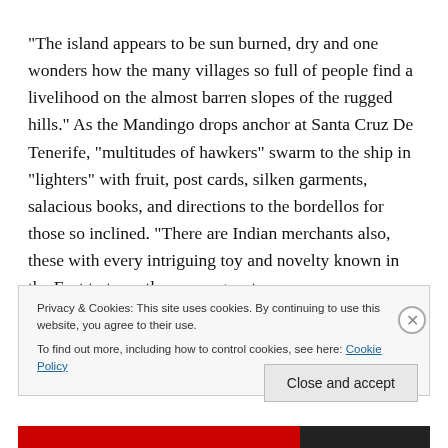“The island appears to be sun burned, dry and one wonders how the many villages so full of people find a livelihood on the almost barren slopes of the rugged hills.” As the Mandingo drops anchor at Santa Cruz De Tenerife, “multitudes of hawkers” swarm to the ship in “lighters” with fruit, post cards, silken garments, salacious books, and directions to the bordellos for those so inclined. “There are Indian merchants also, these with every intriguing toy and novelty known in the East to temp the passengers to
Privacy & Cookies: This site uses cookies. By continuing to use this website, you agree to their use.
To find out more, including how to control cookies, see here: Cookie Policy
Close and accept